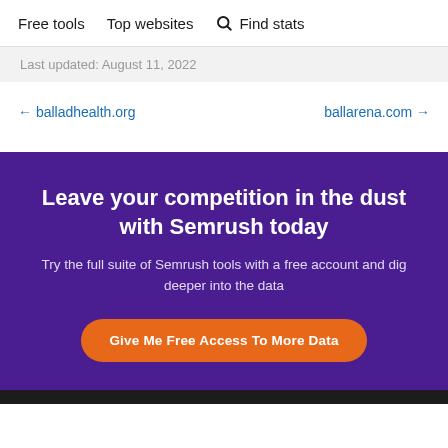Free tools   Top websites   Find stats
Last updated: August 11, 2022
← balladhealth.org   ballarena.com →
Leave your competition in the dust with Semrush today
Try the full suite of Semrush tools with a free account and dig deeper into the data
Give Me Free Access To More Data